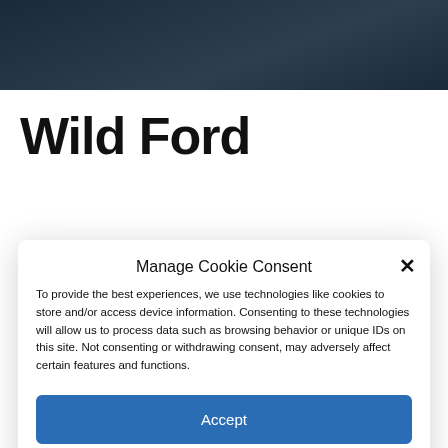[Figure (screenshot): Dark blue/grey gradient background image at the top of the page, partially visible behind the cookie consent modal.]
Wild Ford
Manage Cookie Consent
To provide the best experiences, we use technologies like cookies to store and/or access device information. Consenting to these technologies will allow us to process data such as browsing behavior or unique IDs on this site. Not consenting or withdrawing consent, may adversely affect certain features and functions.
Accept
Deny
View preferences